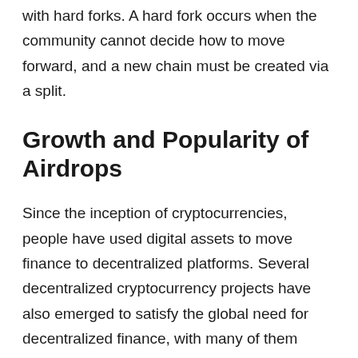with hard forks. A hard fork occurs when the community cannot decide how to move forward, and a new chain must be created via a split.
Growth and Popularity of Airdrops
Since the inception of cryptocurrencies, people have used digital assets to move finance to decentralized platforms. Several decentralized cryptocurrency projects have also emerged to satisfy the global need for decentralized finance, with many of them using airdrops to attract users. These projects usually airdrop a percentage of their total token supply shortly before or after an official launch. A recent example is the Looks Rare airdrop, distributing 12% of the total $LOOKS token supply to anyone in the OpenSea community that spent more than 3 ETH on the NFT